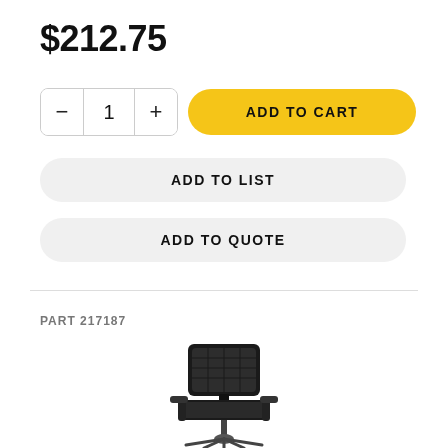$212.75
— 1 + ADD TO CART
ADD TO LIST
ADD TO QUOTE
PART 217187
[Figure (photo): Black mesh office chair with armrests and wheeled base]